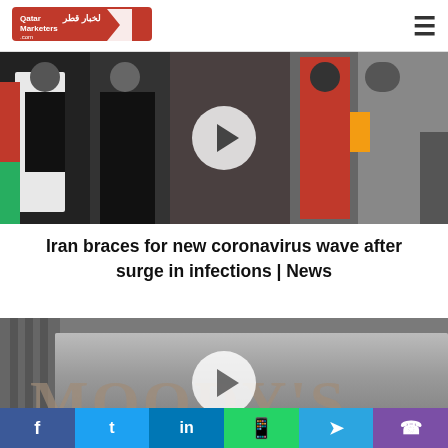Qatar Marketers - لخبار قطر
[Figure (photo): Crowd of people including women in hijabs at an outdoor market or bazaar, with a back navigation arrow button overlay]
Iran braces for new coronavirus wave after surge in infections | News
[Figure (photo): Close-up of Moody's sign/logo on a building exterior with a forward navigation arrow overlay]
Social share bar: Facebook, Twitter, LinkedIn, WhatsApp, Telegram, Phone